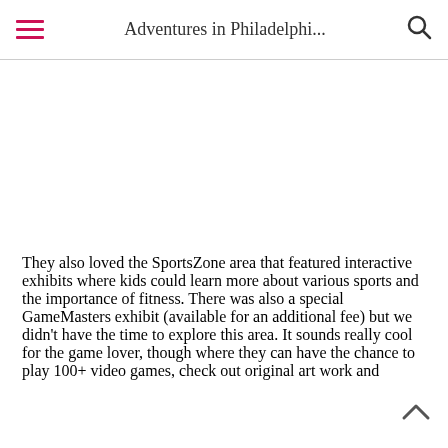Adventures in Philadelphi...
They also loved the SportsZone area that featured interactive exhibits where kids could learn more about various sports and the importance of fitness. There was also a special GameMasters exhibit (available for an additional fee) but we didn't have the time to explore this area. It sounds really cool for the game lover, though where they can have the chance to play 100+ video games, check out original art work and